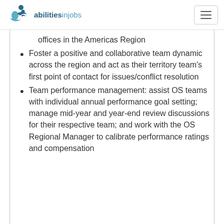abilitiesinjobs
offices in the Americas Region
Foster a positive and collaborative team dynamic across the region and act as their territory team's first point of contact for issues/conflict resolution
Team performance management: assist OS teams with individual annual performance goal setting; manage mid-year and year-end review discussions for their respective team; and work with the OS Regional Manager to calibrate performance ratings and compensation